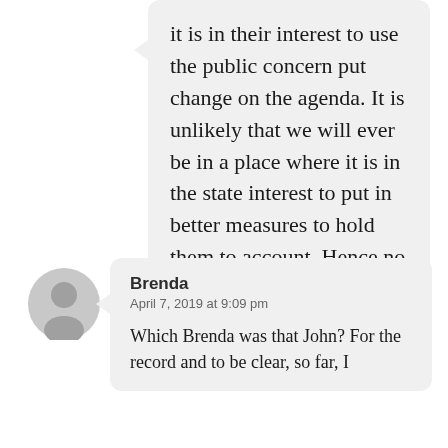it is in their interest to use the public concern put change on the agenda. It is unlikely that we will ever be in a place where it is in the state interest to put in better measures to hold them to account. Hence no media coverage for us.
★ Liked by 1 person
[Figure (illustration): Grey avatar/profile icon placeholder showing a person silhouette]
Brenda
April 7, 2019 at 9:09 pm
Which Brenda was that John? For the record and to be clear, so far, I